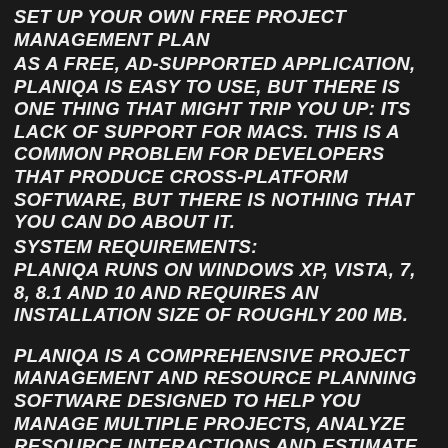SET UP YOUR OWN FREE PROJECT MANAGEMENT PLAN
AS A FREE, AD-SUPPORTED APPLICATION, PLANIQA IS EASY TO USE, BUT THERE IS ONE THING THAT MIGHT TRIP YOU UP: ITS LACK OF SUPPORT FOR MACS. THIS IS A COMMON PROBLEM FOR DEVELOPERS THAT PRODUCE CROSS-PLATFORM SOFTWARE, BUT THERE IS NOTHING THAT YOU CAN DO ABOUT IT.
SYSTEM REQUIREMENTS:
PLANIQA RUNS ON WINDOWS XP, VISTA, 7, 8, 8.1 AND 10 AND REQUIRES AN INSTALLATION SIZE OF ROUGHLY 200 MB.
PLANIQA IS A COMPREHENSIVE PROJECT MANAGEMENT AND RESOURCE PLANNING SOFTWARE DESIGNED TO HELP YOU MANAGE MULTIPLE PROJECTS, ANALYZE RESOURCE INTERACTIONS AND ESTIMATE RESOURCE AND TIME REQUIREMENTS.
PLANIQA FREE DOWNLOAD FEATURES: